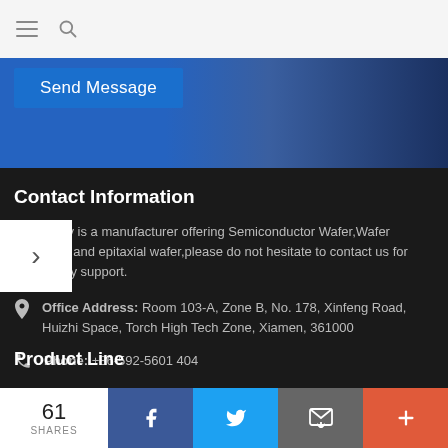Send Message
Contact Information
Powerway is a manufacturer offering Semiconductor Wafer,Wafer Substrate and epitaxial wafer,please do not hesitate to contact us for technology support.
Office Address: Room 103-A, Zone B, No. 178, Xinfeng Road, Huizhi Space, Torch High Tech Zone, Xiamen, 361000
Phone: +86-592-5601 404
Email: sales@powerwaywafer.com tech@powerwaywafer.com
Product Line
61 SHARES